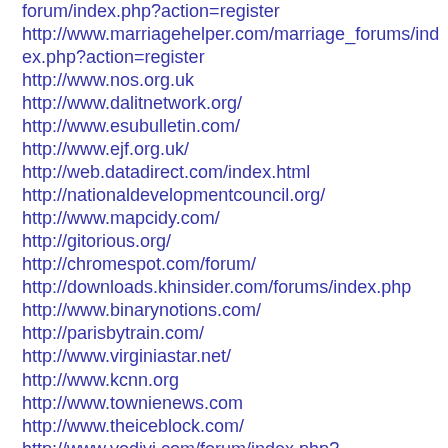forum/index.php?action=register
http://www.marriagehelper.com/marriage_forums/index.php?action=register
http://www.nos.org.uk
http://www.dalitnetwork.org/
http://www.esubulletin.com/
http://www.ejf.org.uk/
http://web.datadirect.com/index.html
http://nationaldevelopmentcouncil.org/
http://www.mapcidy.com/
http://gitorious.org/
http://chromespot.com/forum/
http://downloads.khinsider.com/forums/index.php
http://www.binarynotions.com/
http://parisbytrain.com/
http://www.virginiastar.net/
http://www.kcnn.org
http://www.townienews.com
http://www.theiceblock.com/
http://www.vodivi.com/forum/index.php?